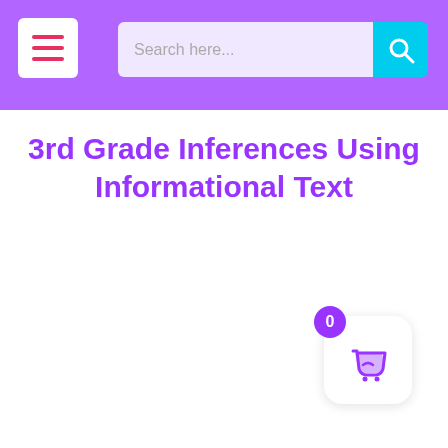Search here...
3rd Grade Inferences Using Informational Text